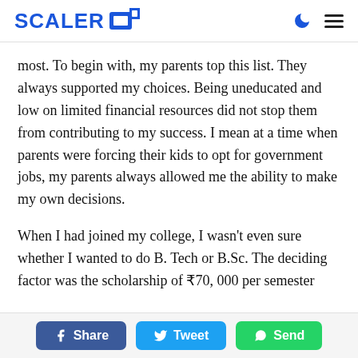SCALER
most. To begin with, my parents top this list. They always supported my choices. Being uneducated and low on limited financial resources did not stop them from contributing to my success. I mean at a time when parents were forcing their kids to opt for government jobs, my parents always allowed me the ability to make my own decisions.
When I had joined my college, I wasn't even sure whether I wanted to do B. Tech or B.Sc. The deciding factor was the scholarship of ₹70, 000 per semester
Share  Tweet  Send